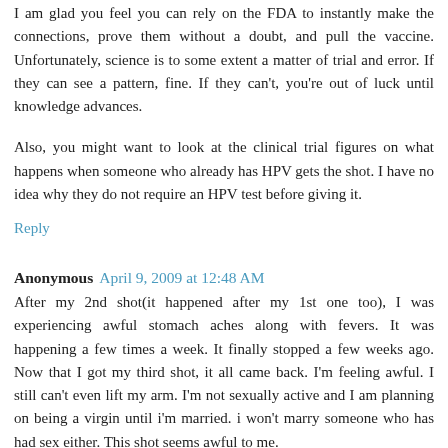I am glad you feel you can rely on the FDA to instantly make the connections, prove them without a doubt, and pull the vaccine. Unfortunately, science is to some extent a matter of trial and error. If they can see a pattern, fine. If they can't, you're out of luck until knowledge advances.
Also, you might want to look at the clinical trial figures on what happens when someone who already has HPV gets the shot. I have no idea why they do not require an HPV test before giving it.
Reply
Anonymous  April 9, 2009 at 12:48 AM
After my 2nd shot(it happened after my 1st one too), I was experiencing awful stomach aches along with fevers. It was happening a few times a week. It finally stopped a few weeks ago. Now that I got my third shot, it all came back. I'm feeling awful. I still can't even lift my arm. I'm not sexually active and I am planning on being a virgin until i'm married. i won't marry someone who has had sex either. This shot seems awful to me.